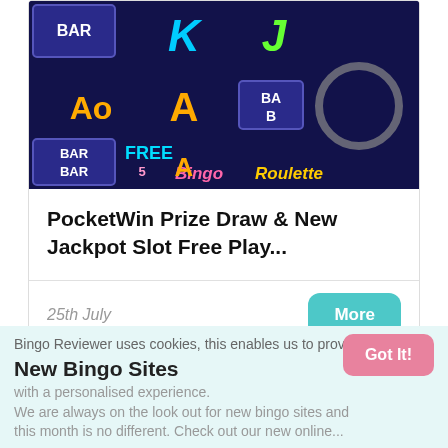[Figure (screenshot): Slot machine game screenshot showing colorful symbols: BAR, K, J, Ao, A, BAR/BAR, FREE 5 Bingo Roulette logo on dark blue background]
PocketWin Prize Draw & New Jackpot Slot Free Play...
25th July
Inside Bingo Reviewer
New Bingo Sites
Bingo Reviewer uses cookies, this enables us to provide you with a personalised experience.
We are always on the look out for new bingo sites and this month is no different. Check out our new online...